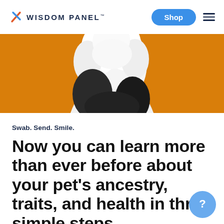WISDOM PANEL™ | Shop
[Figure (photo): Close-up of a white and black fluffy dog photographed from behind against an orange background]
Swab. Send. Smile.
Now you can learn more than ever before about your pet's ancestry, traits, and health in three simple steps.